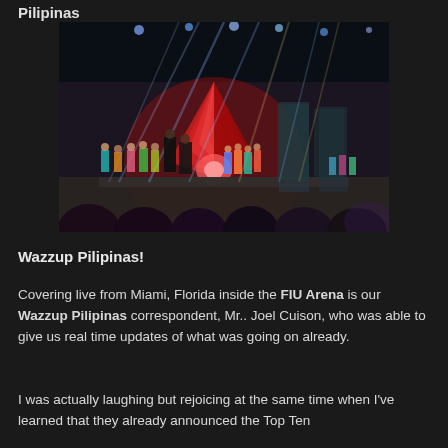Pilipinas
[Figure (photo): Stage performance at FIU Arena in Miami, Florida. A large decorated stage with red fan-shaped backdrop, performers in colorful dresses, stagehands in black, and audience members in the foreground. Dramatic stage lighting with beams visible overhead.]
Wazzup Pilipinas!
Covering live from Miami, Florida inside the FIU Arena is our Wazzup Pilipinas correspondent, Mr.. Joel Cuison, who was able to give us real time updates of what was going on already.
I was actually laughing but rejoicing at the same time when I've learned that they already announced the Top Ten